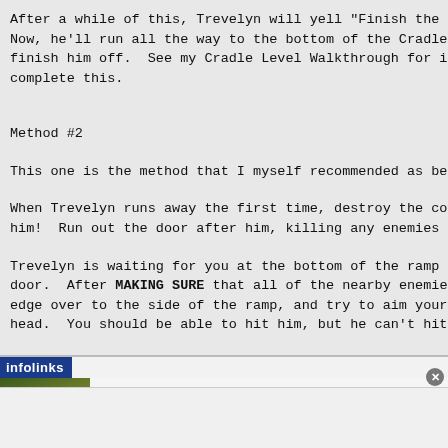After a while of this, Trevelyn will yell "Finish the Now, he'll run all the way to the bottom of the Cradle finish him off.  See my Cradle Level Walkthrough for i complete this.
Method #2
This one is the method that I myself recommended as be
When Trevelyn runs away the first time, destroy the co him!  Run out the door after him, killing any enemies
Trevelyn is waiting for you at the bottom of the ramp door.  After MAKING SURE that all of the nearby enemie edge over to the side of the ramp, and try to aim your head.  You should be able to hit him, but he can't hit
Fire a few shots (conserving ammo is important!) at Tr him to yell at you and run away.
of following him, turn around and open the do
[Figure (screenshot): Infolinks advertisement overlay for HVAC HOME SERVICE. Shows a photo of gardening/flowers, with ad title 'HVAC HOME SERVICE', subtitle 'visit vanessaductwork.com/ to learn more', URL 'www.vanessaductwork.com', a blue arrow button, and a close X button.]